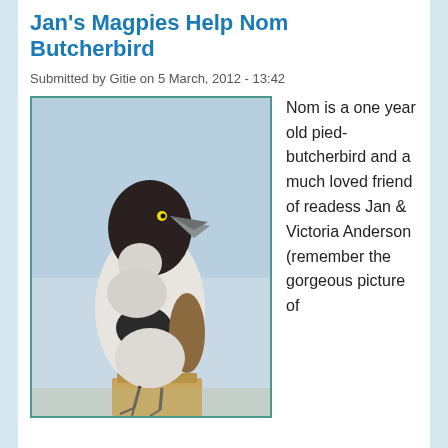Jan's Magpies Help Nom Butcherbird
Submitted by Gitie on 5 March, 2012 - 13:42
[Figure (photo): A pied butcherbird perched on a wooden post, viewed from the front, with a light blue-grey background. The bird has a black head with a large hooked beak, white and grey body with black patches on the chest.]
Nom is a one year old pied-butcherbird and a much loved friend of readess Jan & Victoria Anderson (remember the gorgeous picture of